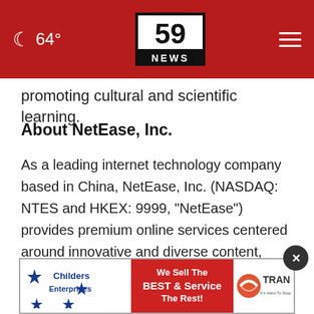59 NEWS — 64°
promoting cultural and scientific learning.
About NetEase, Inc.
As a leading internet technology company based in China, NetEase, Inc. (NASDAQ: NTES and HKEX: 9999, "NetEase") provides premium online services centered around innovative and diverse content, community, communication and commerce. NetEase develops and operates some of the most popular PC games. In more recent years, NetEase has
[Figure (infographic): Childers Enterprises advertisement banner: logo on left with blue stars, red center panel reading 'We Sell The BEST & Service The Rest!', right panel showing Trane logo with tagline 'It's Hard To Stop a Trane.']